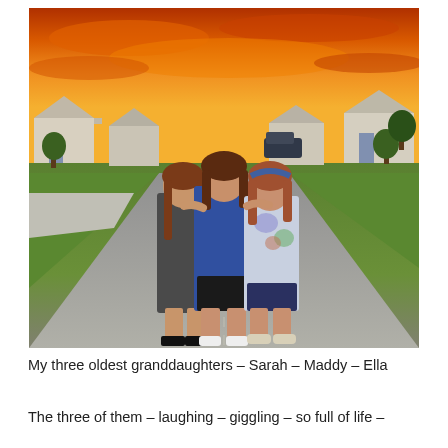[Figure (photo): Three teenage girls standing together on a residential street, arms around each other, smiling. The girl on the left wears a dark gray sweatshirt and black shorts, the middle girl wears a blue graphic t-shirt and black shorts, and the girl on the right wears a tie-dye t-shirt and navy shorts. The background shows a suburban neighborhood with houses, green lawns, and a dramatic orange sunset sky.]
My three oldest granddaughters – Sarah – Maddy – Ella
The three of them – laughing – giggling – so full of life –